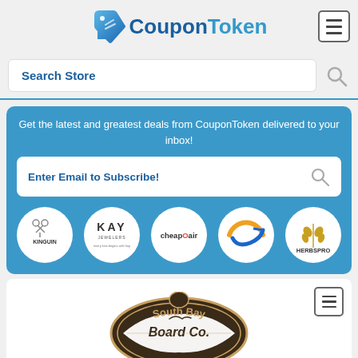[Figure (logo): CouponToken logo with blue price tag icon and blue text]
Search Store
Get the latest and greatest deals from CouponToken delivered to your inbox!
Enter Email to Subscribe!
[Figure (logo): Kinguin logo circle]
[Figure (logo): Kay Jewelers logo circle]
[Figure (logo): CheapOair logo circle]
[Figure (logo): Blue/orange airline logo circle]
[Figure (logo): HerbsPro logo circle]
[Figure (logo): South Bay Board Co. logo]